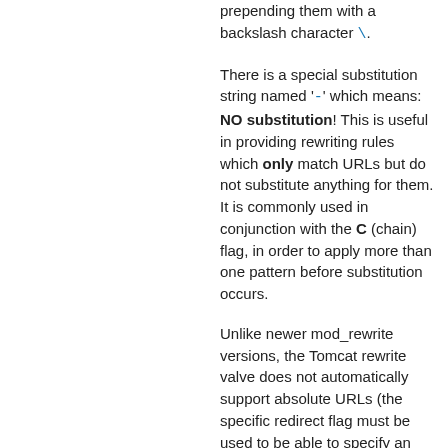prepending them with a backslash character \.
There is a special substitution string named '-' which means: NO substitution! This is useful in providing rewriting rules which only match URLs but do not substitute anything for them. It is commonly used in conjunction with the C (chain) flag, in order to apply more than one pattern before substitution occurs.
Unlike newer mod_rewrite versions, the Tomcat rewrite valve does not automatically support absolute URLs (the specific redirect flag must be used to be able to specify an absolute URLs, see below) or direct file serving.